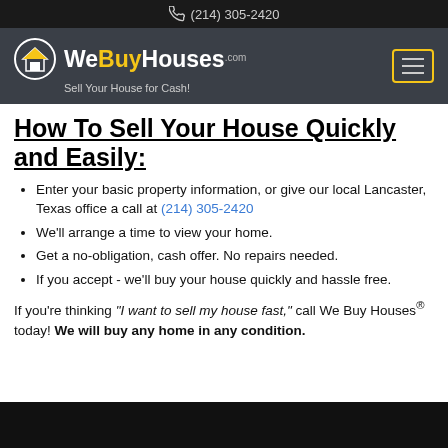(214) 305-2420
[Figure (logo): WeBuyHouses.com logo with house icon in circle, tagline Sell Your House for Cash!, hamburger menu button]
How To Sell Your House Quickly and Easily:
Enter your basic property information, or give our local Lancaster, Texas office a call at (214) 305-2420
We'll arrange a time to view your home.
Get a no-obligation, cash offer. No repairs needed.
If you accept - we'll buy your house quickly and hassle free.
If you're thinking "I want to sell my house fast," call We Buy Houses® today! We will buy any home in any condition.